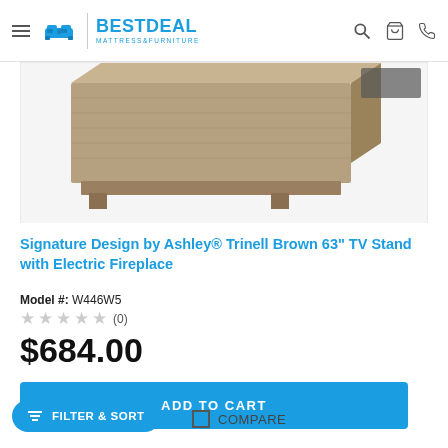BestDeal Mattress & Furniture
[Figure (photo): Partial view of Signature Design by Ashley Trinell Brown 63 inch TV Stand with Electric Fireplace, showing the top-right portion of the wooden TV stand]
Signature Design by Ashley® Trinell Brown 63" TV Stand with Electric Fireplace
Model #: W446W5
★★★★★ (0)
$684.00
ADD TO CART
FILTER & SORT
COMPARE